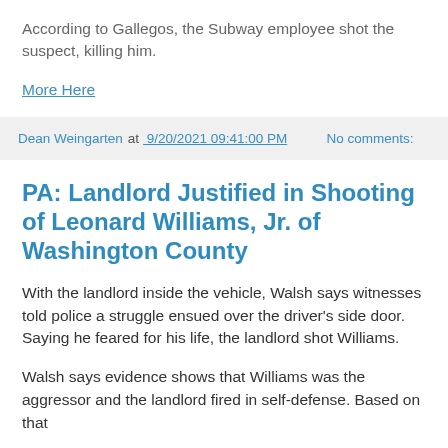According to Gallegos, the Subway employee shot the suspect, killing him.
More Here
Dean Weingarten at 9/20/2021 09:41:00 PM   No comments:
PA: Landlord Justified in Shooting of Leonard Williams, Jr. of Washington County
With the landlord inside the vehicle, Walsh says witnesses told police a struggle ensued over the driver's side door. Saying he feared for his life, the landlord shot Williams.
Walsh says evidence shows that Williams was the aggressor and the landlord fired in self-defense. Based on that